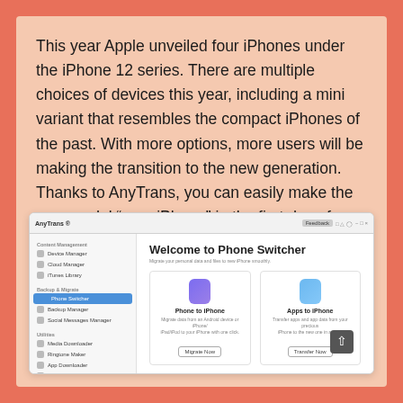This year Apple unveiled four iPhones under the iPhone 12 series. There are multiple choices of devices this year, including a mini variant that resembles the compact iPhones of the past. With more options, more users will be making the transition to the new generation. Thanks to AnyTrans, you can easily make the new model “your iPhone” in the first day of usage.
[Figure (screenshot): Screenshot of AnyTrans application showing the Phone Switcher welcome screen with options for Phone to iPhone and Apps to iPhone transfers, sidebar with Content Management and Backup & Migrate sections.]